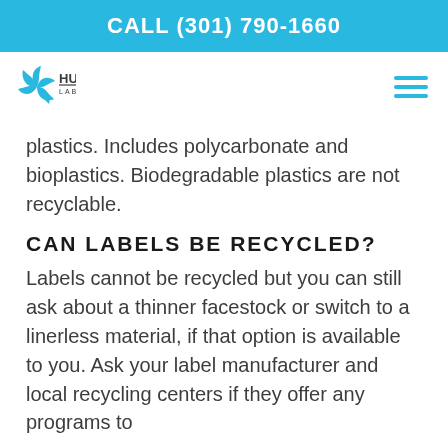CALL (301) 790-1660
[Figure (logo): Hub Labels logo with cyan pinwheel icon and HUB LABELS text]
plastics. Includes polycarbonate and bioplastics. Biodegradable plastics are not recyclable.
CAN LABELS BE RECYCLED?
Labels cannot be recycled but you can still ask about a thinner facestock or switch to a linerless material, if that option is available to you. Ask your label manufacturer and local recycling centers if they offer any programs to